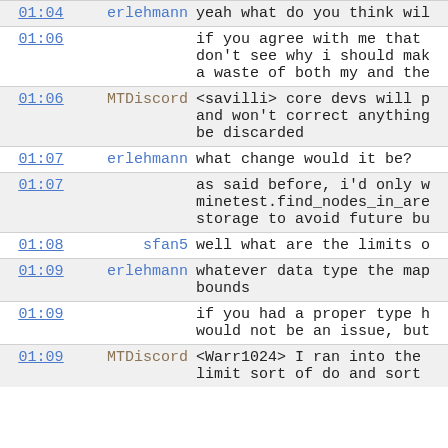| time | user | message |
| --- | --- | --- |
| 01:04 | erlehmann | yeah what do you think wil |
| 01:06 |  | if you agree with me that
don't see why i should mak
a waste of both my and the |
| 01:06 | MTDiscord | <savilli> core devs will p
and won't correct anything
be discarded |
| 01:07 | erlehmann | what change would it be? |
| 01:07 |  | as said before, i'd only w
minetest.find_nodes_in_are
storage to avoid future bu |
| 01:08 | sfan5 | well what are the limits o |
| 01:09 | erlehmann | whatever data type the map
bounds |
| 01:09 |  | if you had a proper type h
would not be an issue, but |
| 01:09 | MTDiscord | <Warr1024> I ran into the
limit sort of do and sort |